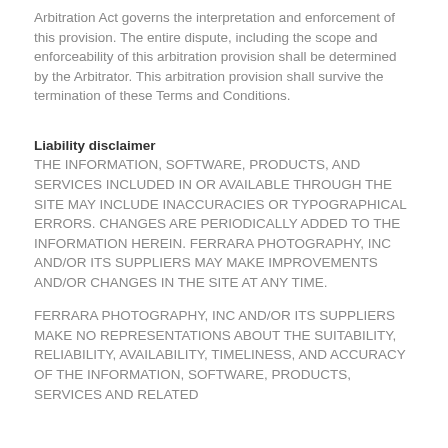Arbitration Act governs the interpretation and enforcement of this provision. The entire dispute, including the scope and enforceability of this arbitration provision shall be determined by the Arbitrator. This arbitration provision shall survive the termination of these Terms and Conditions.
Liability disclaimer
THE INFORMATION, SOFTWARE, PRODUCTS, AND SERVICES INCLUDED IN OR AVAILABLE THROUGH THE SITE MAY INCLUDE INACCURACIES OR TYPOGRAPHICAL ERRORS. CHANGES ARE PERIODICALLY ADDED TO THE INFORMATION HEREIN. FERRARA PHOTOGRAPHY, INC AND/OR ITS SUPPLIERS MAY MAKE IMPROVEMENTS AND/OR CHANGES IN THE SITE AT ANY TIME.
FERRARA PHOTOGRAPHY, INC AND/OR ITS SUPPLIERS MAKE NO REPRESENTATIONS ABOUT THE SUITABILITY, RELIABILITY, AVAILABILITY, TIMELINESS, AND ACCURACY OF THE INFORMATION, SOFTWARE, PRODUCTS, SERVICES AND RELATED